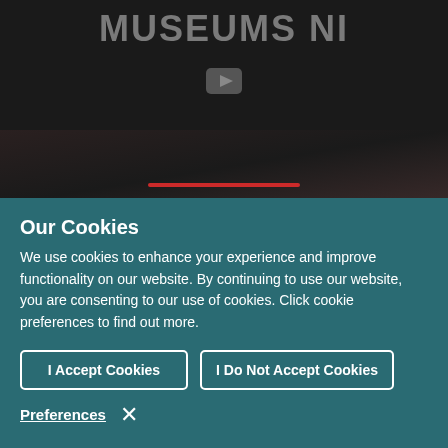MUSEUMS NI
[Figure (logo): YouTube play button icon in grey on dark background]
Our Cookies
We use cookies to enhance your experience and improve functionality on our website. By continuing to use our website, you are consenting to our use of cookies. Click cookie preferences to find out more.
I Accept Cookies
I Do Not Accept Cookies
Preferences